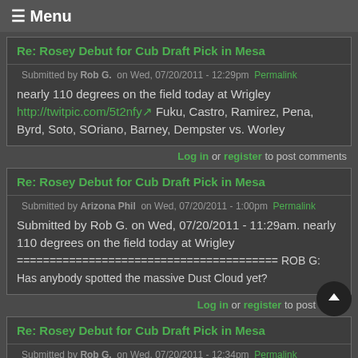≡ Menu
Re: Rosey Debut for Cub Draft Pick in Mesa
Submitted by Rob G. on Wed, 07/20/2011 - 12:29pm Permalink
nearly 110 degrees on the field today at Wrigley http://twitpic.com/5t2nfy Fuku, Castro, Ramirez, Pena, Byrd, Soto, SOriano, Barney, Dempster vs. Worley
Log in or register to post comments
Re: Rosey Debut for Cub Draft Pick in Mesa
Submitted by Arizona Phil on Wed, 07/20/2011 - 1:00pm Permalink
Submitted by Rob G. on Wed, 07/20/2011 - 11:29am. nearly 110 degrees on the field today at Wrigley
======================================== ROB G: Has anybody spotted the massive Dust Cloud yet?
Log in or register to post comm
Re: Rosey Debut for Cub Draft Pick in Mesa
Submitted by Rob G. on Wed, 07/20/2011 - 12:34pm Permalink